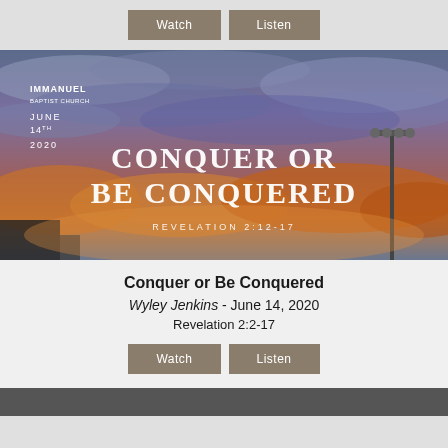Watch | Listen (buttons, top)
[Figure (photo): A dramatic sunset sky with orange and purple clouds and a light pole, overlaid with white text: IMMANUEL BAPTIST CHURCH, JUNE 14TH 2020, CONQUER OR BE CONQUERED, REVELATION 2:12-17]
Conquer or Be Conquered
Wyley Jenkins - June 14, 2020
Revelation 2:2-17
Watch | Listen (buttons, bottom)